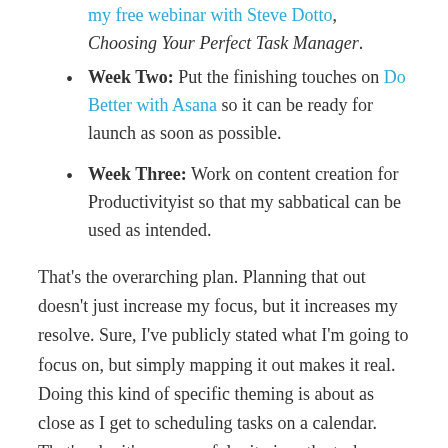my free webinar with Steve Dotto, Choosing Your Perfect Task Manager.
Week Two: Put the finishing touches on Do Better with Asana so it can be ready for launch as soon as possible.
Week Three: Work on content creation for Productivityist so that my sabbatical can be used as intended.
That's the overarching plan. Planning that out doesn't just increase my focus, but it increases my resolve. Sure, I've publicly stated what I'm going to focus on, but simply mapping it out makes it real. Doing this kind of specific theming is about as close as I get to scheduling tasks on a calendar. That's why it's so powerful – it gives the task more